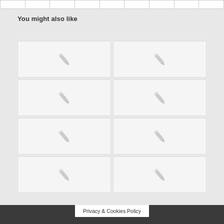|  |   |   |   |   |   |   |   |   |
You might also like
[Figure (illustration): A 4-row by 2-column grid of placeholder image cards, each showing a gray pencil icon centered on a light gray background, indicating unloaded or missing images.]
Privacy & Cookies Policy